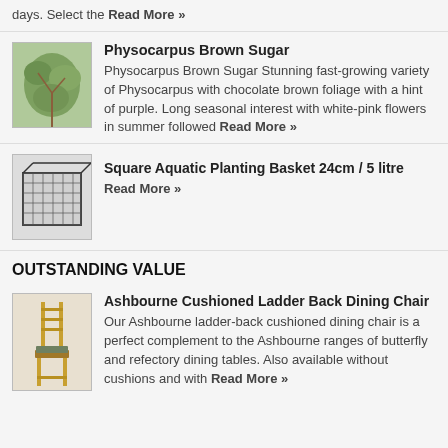days. Select the Read More »
Physocarpus Brown Sugar
Physocarpus Brown Sugar Stunning fast-growing variety of Physocarpus with chocolate brown foliage with a hint of purple. Long seasonal interest with white-pink flowers in summer followed Read More »
Square Aquatic Planting Basket 24cm / 5 litre
Read More »
OUTSTANDING VALUE
Ashbourne Cushioned Ladder Back Dining Chair
Our Ashbourne ladder-back cushioned dining chair is a perfect complement to the Ashbourne ranges of butterfly and refectory dining tables. Also available without cushions and with Read More »